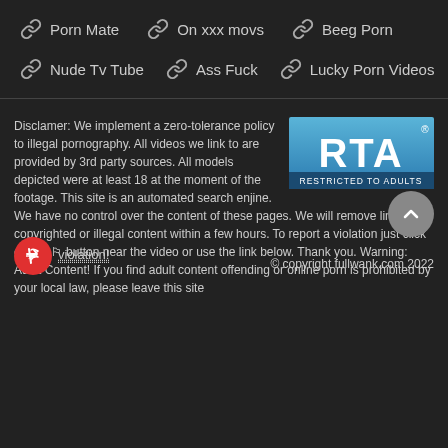Porn Mate  On xxx movs  Beeg Porn
Nude Tv Tube  Ass Fuck  Lucky Porn Videos
Disclamer: We implement a zero-tolerance policy to illegal pornography. All videos we link to are provided by 3rd party sources. All models depicted were at least 18 at the moment of the footage. This site is an automated search enjine. We have no control over the content of these pages. We will remove links to copyrighted or illegal content within a few hours. To report a violation just click on the 🚩 button near the video or use the link below. Thank you. Warning: Adult Content! If you find adult content offending or online porn is prohibited by your local law, please leave this site
[Figure (logo): RTA Restricted To Adults badge logo]
violation!
© copyright fullwank.com 2022